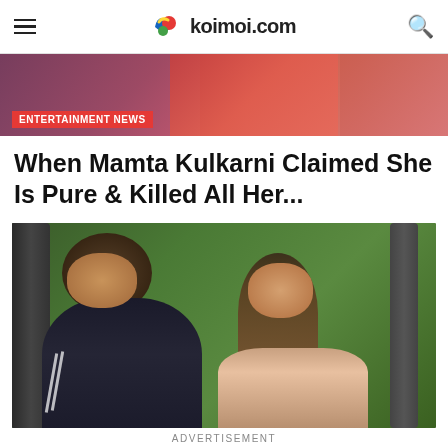koimoi.com
[Figure (photo): Partially visible banner image showing people in colorful clothing with Entertainment News badge]
ENTERTAINMENT NEWS
When Mamta Kulkarni Claimed She Is Pure & Killed All Her...
[Figure (photo): Photo of a young man smiling in a black jacket and a young woman with long hair smiling, with green foliage in background]
ADVERTISEMENT
[Figure (photo): Advertisement strip showing multiple fashion thumbnails and a HOTT branded call-to-action button with SHOP NOW]